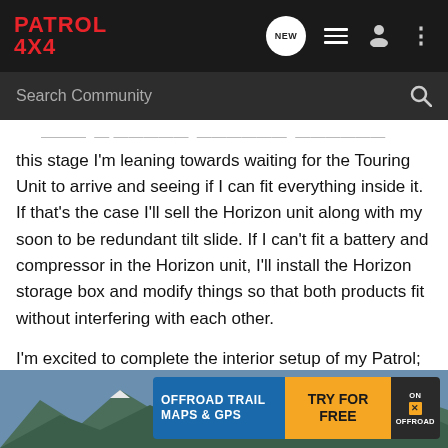[Figure (logo): Patrol 4x4 logo in red on dark background navigation bar with icons for new messages, list, user, and more options]
Search Community
this stage I'm leaning towards waiting for the Touring Unit to arrive and seeing if I can fit everything inside it. If that's the case I'll sell the Horizon unit along with my soon to be redundant tilt slide. If I can't fit a battery and compressor in the Horizon unit, I'll install the Horizon storage box and modify things so that both products fit without interfering with each other.
I'm excited to complete the interior setup of my Patrol; once the rear is sorted the next major project will be an overhaul of the auxiliary battery wiring. This will be required as I'll be moving the compressor, sound system amplifiers and inverters into the touring unit as well as adding the aforementioned lithium battery.
[Figure (infographic): Advertisement banner for OFFROAD TRAIL MAPS & GPS with TRY FOR FREE call to action and ON X OFFROAD branding]